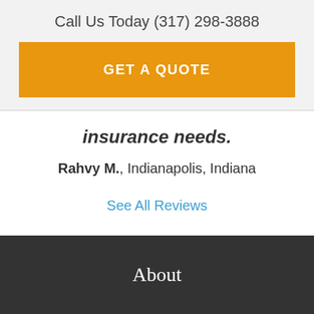Call Us Today (317) 298-3888
GET A QUOTE
insurance needs.
Rahvy M., Indianapolis, Indiana
See All Reviews
About